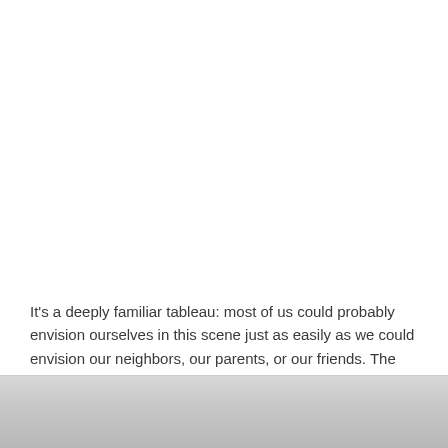It's a deeply familiar tableau: most of us could probably envision ourselves in this scene just as easily as we could envision our neighbors, our parents, or our friends. The calm and quiet that infuses his work may even bring up feelings of nostalgia for our American way of life, or our search for the American dream.
[Figure (photo): Bottom portion of a photograph visible at the bottom of the page, showing a grey/light gradient, partially cropped.]